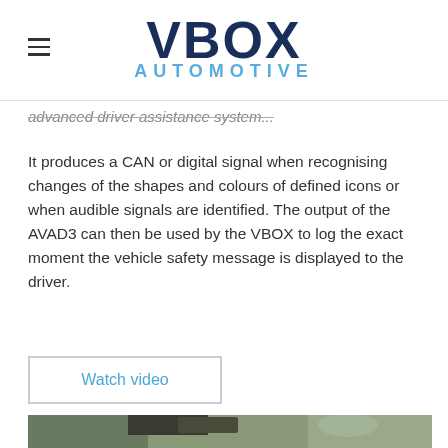VBOX AUTOMOTIVE
advanced driver assistance system...
It produces a CAN or digital signal when recognising changes of the shapes and colours of defined icons or when audible signals are identified. The output of the AVAD3 can then be used by the VBOX to log the exact moment the vehicle safety message is displayed to the driver.
Watch video
[Figure (photo): A man inside a vehicle, viewed through the windshield area, with trees visible in the background. A camera device is mounted near the rear-view mirror area.]